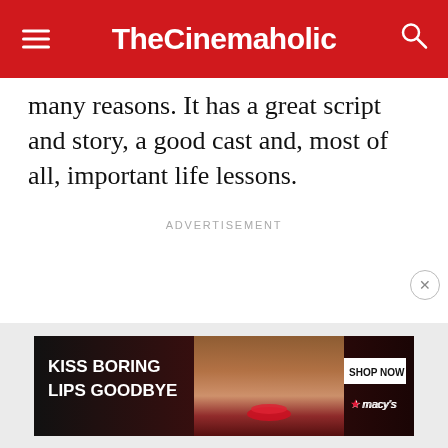TheCinemaholic
many reasons. It has a great script and story, a good cast and, most of all, important life lessons.
ADVERTISEMENT
[Figure (screenshot): Macy's advertisement banner showing a woman's face with red lips, text 'KISS BORING LIPS GOODBYE', 'SHOP NOW' button, and Macy's star logo]